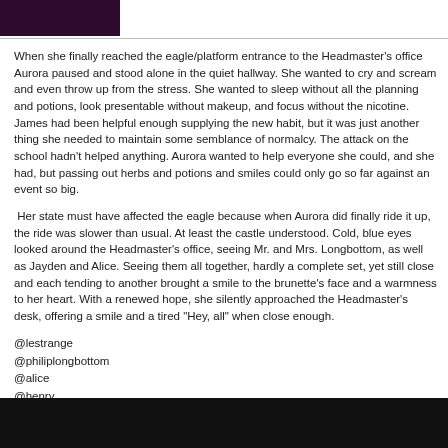[Figure (photo): Small thumbnail image with dark purple/black colors in top left corner]
When she finally reached the eagle/platform entrance to the Headmaster's office Aurora paused and stood alone in the quiet hallway. She wanted to cry and scream and even throw up from the stress.  She wanted to sleep without all the planning and potions, look presentable without makeup, and focus without the nicotine.  James had been helpful enough supplying the new habit, but it was just another thing she needed to maintain some semblance of normalcy.  The attack on the school hadn't helped anything.  Aurora wanted to help everyone she could, and she had, but passing out herbs and potions and smiles could only go so far against an event so big.
Her state must have affected the eagle because when Aurora did finally ride it up, the ride was slower than usual.  At least the castle understood.  Cold, blue eyes looked around the Headmaster's office, seeing Mr. and Mrs. Longbottom, as well as Jayden and Alice. Seeing them all together, hardly a complete set, yet still close and each tending to another brought a smile to the brunette's face and a warmness to her heart.  With a renewed hope, she silently approached the Headmaster's desk, offering a smile and a tired "Hey, all" when close enough.
@lestrange
@philiplongbottom
@alice
@henry
@superluigi64